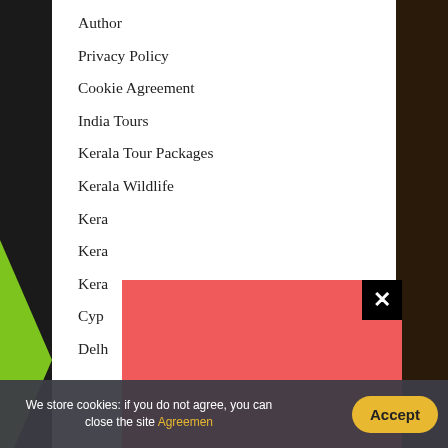Author
Privacy Policy
Cookie Agreement
India Tours
Kerala Tour Packages
Kerala Wildlife
Kera[la...] (partially obscured)
Kera[la...] (partially obscured)
Kera[la...] (partially obscured)
Cyp[rus...] (partially obscured)
Delh[i...] (partially obscured)
[Figure (other): Red overlay/modal dialog covering lower portion of menu list, with a black close (X) button in the top-right corner]
We store cookies: if you do not agree, you can close the site Agreement
Accept